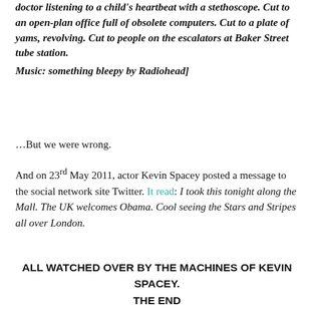doctor listening to a child's heartbeat with a stethoscope. Cut to an open-plan office full of obsolete computers. Cut to a plate of yams, revolving. Cut to people on the escalators at Baker Street tube station.
Music: something bleepy by Radiohead]
…But we were wrong.
And on 23rd May 2011, actor Kevin Spacey posted a message to the social network site Twitter. It read: I took this tonight along the Mall. The UK welcomes Obama. Cool seeing the Stars and Stripes all over London.
ALL WATCHED OVER BY THE MACHINES OF KEVIN SPACEY.
THE END